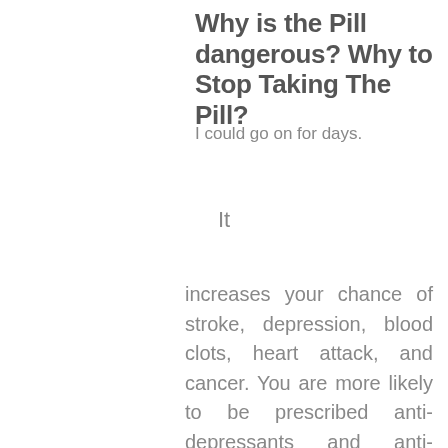Why is the Pill dangerous? Why to Stop Taking The Pill?
I could go on for days.
It
increases your chance of stroke, depression, blood clots, heart attack, and cancer. You are more likely to be prescribed anti-depressants and anti-anxiety medication, both of which come with their own list of dangerous side effects. You are more likely to gain weight. You are more